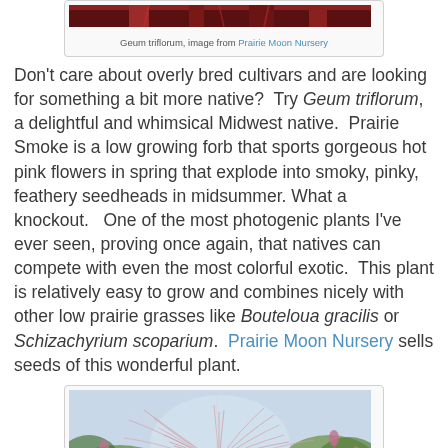[Figure (photo): Top portion of a Geum triflorum plant photo, showing red/pink stems, image from Prairie Moon Nursery]
Geum triflorum, image from Prairie Moon Nursery
Don't care about overly bred cultivars and are looking for something a bit more native?  Try Geum triflorum, a delightful and whimsical Midwest native.  Prairie Smoke is a low growing forb that sports gorgeous hot pink flowers in spring that explode into smoky, pinky, feathery seedheads in midsummer. What a knockout.   One of the most photogenic plants I've ever seen, proving once again, that natives can compete with even the most colorful exotic.  This plant is relatively easy to grow and combines nicely with other low prairie grasses like Bouteloua gracilis or Schizachyrium scoparium.  Prairie Moon Nursery sells seeds of this wonderful plant.
[Figure (photo): Close-up photo of Geum triflorum (Prairie Smoke) showing feathery pink seedheads with pink buds in background with green bokeh]